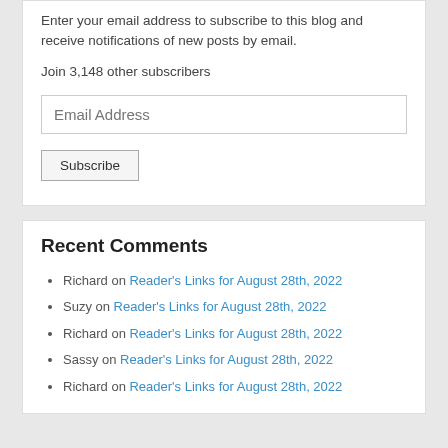Enter your email address to subscribe to this blog and receive notifications of new posts by email.
Join 3,148 other subscribers
[Figure (other): Email Address input field]
[Figure (other): Subscribe button]
Recent Comments
Richard on Reader's Links for August 28th, 2022
Suzy on Reader's Links for August 28th, 2022
Richard on Reader's Links for August 28th, 2022
Sassy on Reader's Links for August 28th, 2022
Richard on Reader's Links for August 28th, 2022